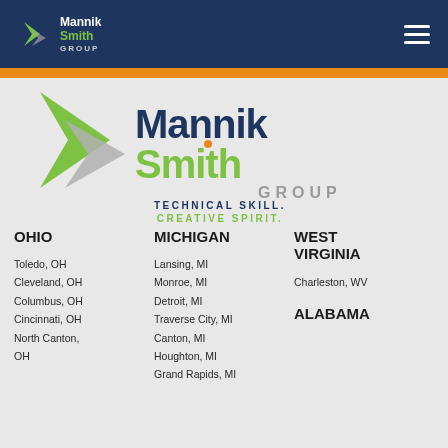Mannik Smith Group — navigation header
[Figure (logo): Mannik Smith Group logo with green and grey arrow shapes, navy text 'Mannik', green text 'Smith', grey text 'GROUP', tagline 'TECHNICAL SKILL. CREATIVE SPIRIT.']
OHIO
Toledo, OH
Cleveland, OH
Columbus, OH
Cincinnati, OH
North Canton, OH
MICHIGAN
Lansing, MI
Monroe, MI
Detroit, MI
Traverse City, MI
Canton, MI
Houghton, MI
Grand Rapids, MI
WEST VIRGINIA
Charleston, WV
ALABAMA